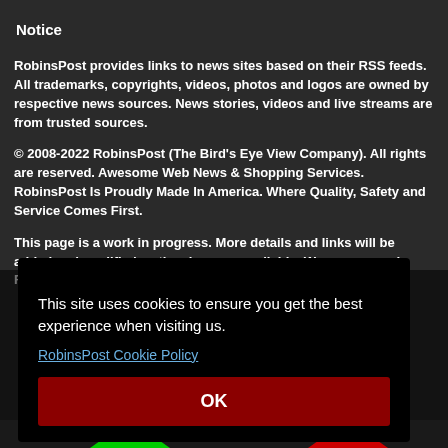Notice
RobinsPost provides links to news sites based on their RSS feeds. All trademarks, copyrights, videos, photos and logos are owned by respective news sources. News stories, videos and live streams are from trusted sources.
© 2008-2022 RobinsPost (The Bird's Eye View Company). All rights are reserved. Awesome Web News & Shopping Services. RobinsPost Is Proudly Made In America. Where Quality, Safety and Service Comes First.
This page is a work in progress. More details and links will be added and modified as they become available. We recommend Firefox 3 (and
This site uses cookies to ensure you get the best experience when visiting us.
RobinsPost Cookie Policy
OK